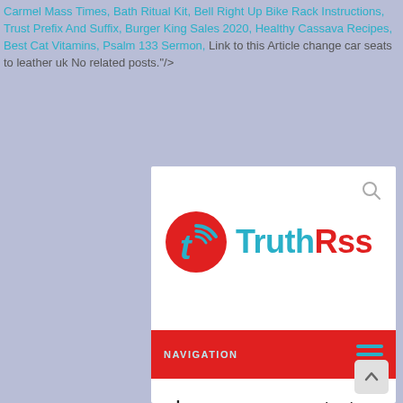Carmel Mass Times, Bath Ritual Kit, Bell Right Up Bike Rack Instructions, Trust Prefix And Suffix, Burger King Sales 2020, Healthy Cassava Recipes, Best Cat Vitamins, Psalm 133 Sermon, Link to this Article change car seats to leather uk No related posts."/>
[Figure (logo): TruthRss website logo with red circle containing a 't' letter with wifi signal arcs, followed by TruthRss text in cyan and red]
NAVIGATION
change car seats to leather uk